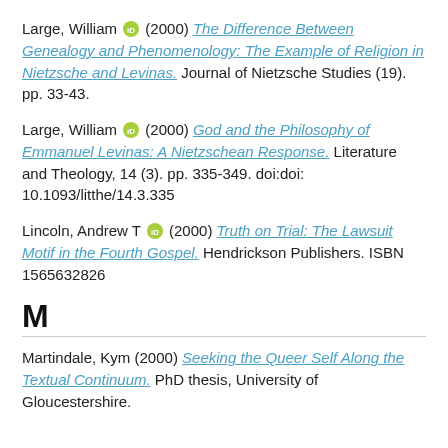Large, William (2000) The Difference Between Genealogy and Phenomenology: The Example of Religion in Nietzsche and Levinas. Journal of Nietzsche Studies (19). pp. 33-43.
Large, William (2000) God and the Philosophy of Emmanuel Levinas: A Nietzschean Response. Literature and Theology, 14 (3). pp. 335-349. doi:doi: 10.1093/litthe/14.3.335
Lincoln, Andrew T (2000) Truth on Trial: The Lawsuit Motif in the Fourth Gospel. Hendrickson Publishers. ISBN 1565632826
M
Martindale, Kym (2000) Seeking the Queer Self Along the Textual Continuum. PhD thesis, University of Gloucestershire.